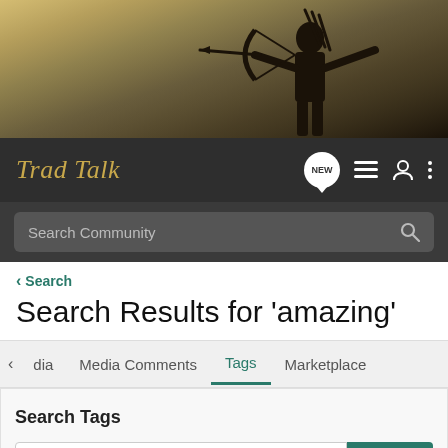[Figure (photo): Hero banner showing a silhouette of an archer drawing a bow against a yellowish-gray background]
Trad Talk
Search Community
< Search
Search Results for ‘amazing’
dia | Media Comments | Tags | Marketplace
Search Tags
× amazing